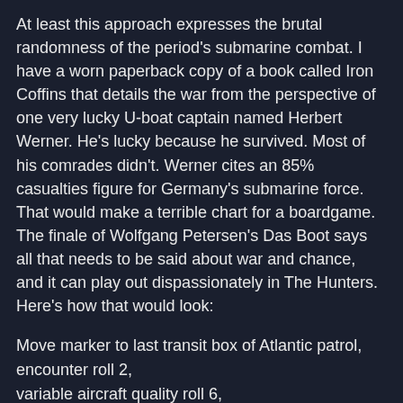At least this approach expresses the brutal randomness of the period's submarine combat. I have a worn paperback copy of a book called Iron Coffins that details the war from the perspective of one very lucky U-boat captain named Herbert Werner. He's lucky because he survived. Most of his comrades didn't. Werner cites an 85% casualties figure for Germany's submarine force. That would make a terrible chart for a boardgame. The finale of Wolfgang Petersen's Das Boot says all that needs to be said about war and chance, and it can play out dispassionately in The Hunters. Here's how that would look:
Move marker to last transit box of Atlantic patrol,
encounter roll 2,
variable aircraft quality roll 6,
flak attack vs aircraft roll 8,
aircraft encounter roll 1,
crew injury roll 4,
place injury marker on engineer,
first damage roll 54,
place two flooding markers,
second damage roll 31,